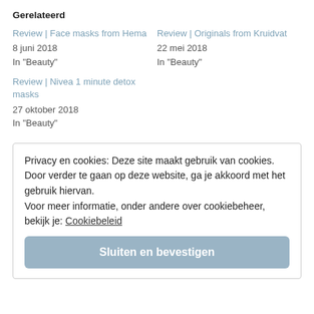Gerelateerd
Review | Face masks from Hema
8 juni 2018
In "Beauty"
Review | Originals from Kruidvat
22 mei 2018
In "Beauty"
Review | Nivea 1 minute detox masks
27 oktober 2018
In "Beauty"
Privacy en cookies: Deze site maakt gebruik van cookies. Door verder te gaan op deze website, ga je akkoord met het gebruik hiervan.
Voor meer informatie, onder andere over cookiebeheer, bekijk je: Cookiebeleid
Sluiten en bevestigen